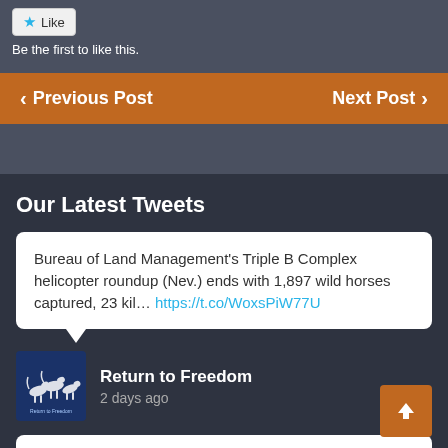Like
Be the first to like this.
< Previous Post
Next Post >
Our Latest Tweets
Bureau of Land Management's Triple B Complex helicopter roundup (Nev.) ends with 1,897 wild horses captured, 23 kil… https://t.co/WoxsPiW77U
Return to Freedom
2 days ago
U.S. Forest Service to capture, remove 500 wild